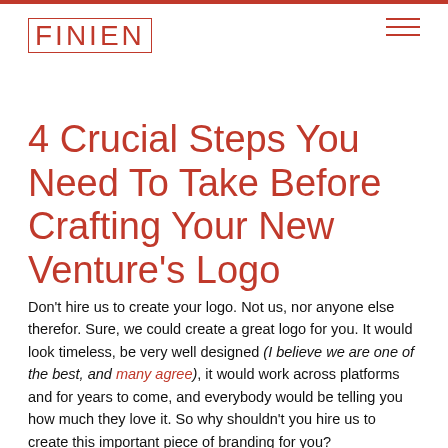FINIEN
4 Crucial Steps You Need To Take Before Crafting Your New Venture's Logo
Don't hire us to create your logo. Not us, nor anyone else therefor. Sure, we could create a great logo for you. It would look timeless, be very well designed (I believe we are one of the best, and many agree), it would work across platforms and for years to come, and everybody would be telling you how much they love it. So why shouldn't you hire us to create this important piece of branding for you?
Chances are you don't need a logo designed. Not yet.
Chances are you need a brand built, and your logo is just a part of it. By creating a logo in a vacuum, and out of sync, you will likely fail. I don't want you to fail. Nor be part of failure.